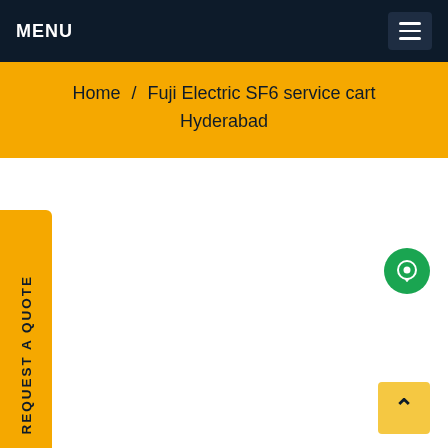MENU
Home / Fuji Electric SF6 service cart Hyderabad
REQUEST A QUOTE